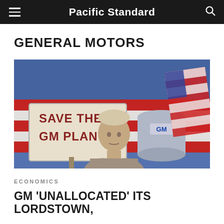Pacific Standard
GENERAL MOTORS
[Figure (illustration): Illustrated image of a worker in front of a 'Save the GM Plant' sign, with an American flag and GM building in the background, styled in red, white, and blue colors.]
ECONOMICS
GM 'UNALLOCATED' ITS LORDSTOWN,